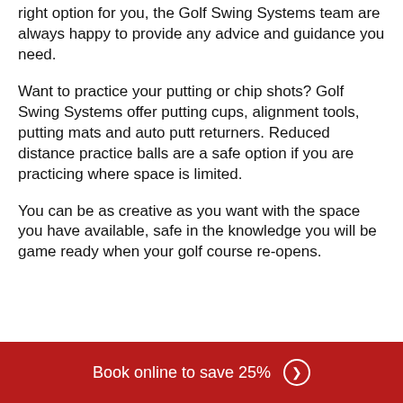right option for you, the Golf Swing Systems team are always happy to provide any advice and guidance you need.
Want to practice your putting or chip shots? Golf Swing Systems offer putting cups, alignment tools, putting mats and auto putt returners. Reduced distance practice balls are a safe option if you are practicing where space is limited.
You can be as creative as you want with the space you have available, safe in the knowledge you will be game ready when your golf course re-opens.
Book online to save 25%